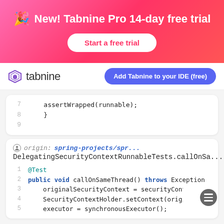[Figure (infographic): Pink/red gradient banner with party emoji and text 'New! Tabnine Pro 14-day free trial' and a 'Start a free trial' white button]
[Figure (logo): Tabnine logo (purple hexagon icon and 'tabnine' text) plus blue pill button 'Add Tabnine to your IDE (free)']
assertWrapped(runnable);
    }
    .
origin: spring-projects/spr...
DelegatingSecurityContextRunnableTests.callOnSa...
@Test
public void callOnSameThread() throws Exception
    originalSecurityContext = securityContext
    SecurityContextHolder.setContext(originalSe...)
    executor = synchronousExecutor();